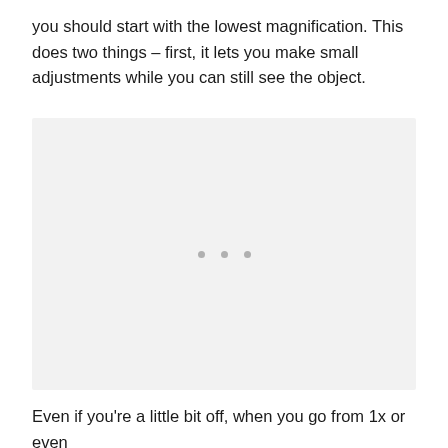you should start with the lowest magnification. This does two things – first, it lets you make small adjustments while you can still see the object.
[Figure (photo): A light gray placeholder image area with three small gray dots centered in the middle, representing a loading or missing image.]
Even if you're a little bit off, when you go from 1x or even